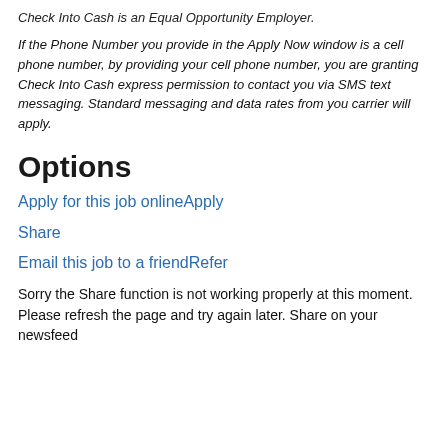Check Into Cash is an Equal Opportunity Employer.
If the Phone Number you provide in the Apply Now window is a cell phone number, by providing your cell phone number, you are granting Check Into Cash express permission to contact you via SMS text messaging. Standard messaging and data rates from you carrier will apply.
Options
Apply for this job onlineApply
Share
Email this job to a friendRefer
Sorry the Share function is not working properly at this moment. Please refresh the page and try again later. Share on your newsfeed